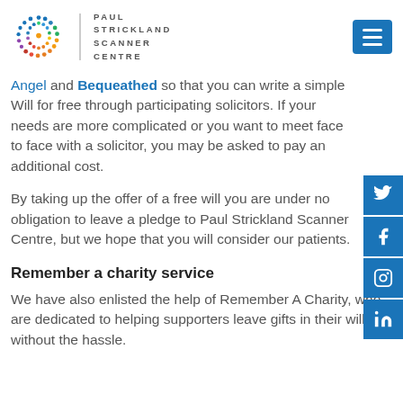[Figure (logo): Paul Strickland Scanner Centre logo with colorful dot circle pattern and text, plus hamburger menu button]
Angel and Bequeathed so that you can write a simple Will for free through participating solicitors. If your needs are more complicated or you want to meet face to face with a solicitor, you may be asked to pay an additional cost.
By taking up the offer of a free will you are under no obligation to leave a pledge to Paul Strickland Scanner Centre, but we hope that you will consider our patients.
Remember a charity service
We have also enlisted the help of Remember A Charity, who are dedicated to helping supporters leave gifts in their wills, without the hassle.